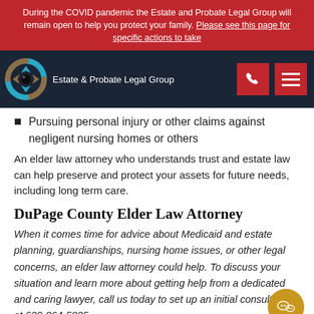During the COVID pandemic the Estate and Probate Legal Group will remain open to help you protect your family. Please see this page for specific actions to take
[Figure (logo): Estate & Probate Legal Group logo with circular arrow icon on dark navy background, phone and menu buttons]
Pursuing personal injury or other claims against negligent nursing homes or others
An elder law attorney who understands trust and estate law can help preserve and protect your assets for future needs, including long term care.
DuPage County Elder Law Attorney
When it comes time for advice about Medicaid and estate planning, guardianships, nursing home issues, or other legal concerns, an elder law attorney could help. To discuss your situation and learn more about getting help from a dedicated and caring lawyer, call us today to set up an initial consultation at 630-864-5835.